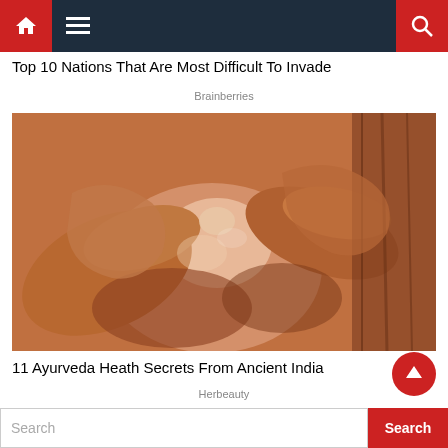Navigation bar with home, menu, and search icons
Top 10 Nations That Are Most Difficult To Invade
Brainberries
[Figure (photo): Close-up photograph of hands performing a massage or pressing on a foot/toe, skin appears oiled]
11 Ayurveda Heath Secrets From Ancient India
Herbeauty
Search  [Search button]